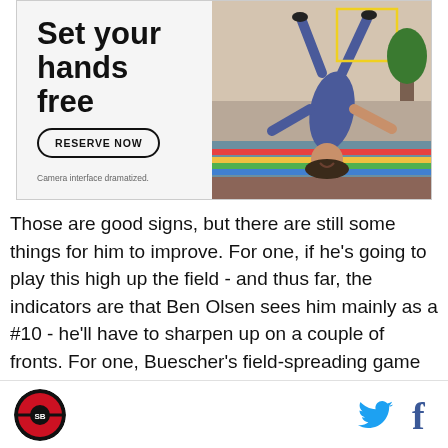[Figure (photo): Advertisement banner: 'Set your hands free' with RESERVE NOW button, Camera interface dramatized disclaimer, and photo of woman doing yoga/handstand pose upside down on a colorful rug in a living room]
Those are good signs, but there are still some things for him to improve. For one, if he's going to play this high up the field - and thus far, the indicators are that Ben Olsen sees him mainly as a #10 - he'll have to sharpen up on a couple of fronts. For one, Buescher's field-spreading game doesn't help as much once United is in the attacking third. At that point, they need
[Logo] [Twitter icon] [Facebook icon]